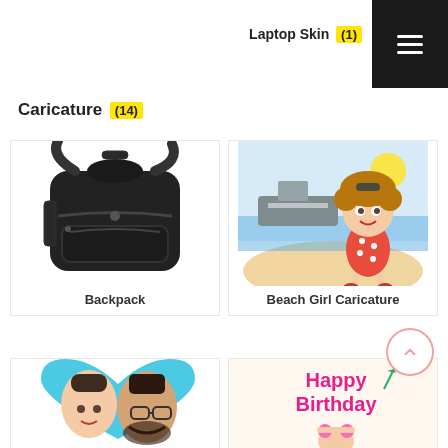[Figure (photo): Partial view of a red-dressed figurine/doll at top of page]
Laptop Skin (1)
Caricature (14)
[Figure (photo): Black backpack product image on white background]
Backpack
[Figure (illustration): Caricature illustration of a beach girl in red polka dot dress with cruise ship in background]
Beach Girl Caricature
[Figure (illustration): Caricature of a couple (woman and bearded man with glasses) on teal heart background]
[Figure (illustration): Happy Birthday caricature with text and small girl figure with pink hair accessories]